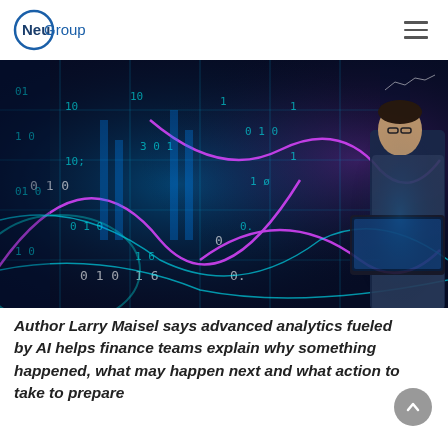NeuGroup
[Figure (photo): Person examining large digital data visualization screens with glowing blue and purple binary code, charts, and data patterns in a dark server room environment, holding a laptop.]
Author Larry Maisel says advanced analytics fueled by AI helps finance teams explain why something happened, what may happen next and what action to take to prepare